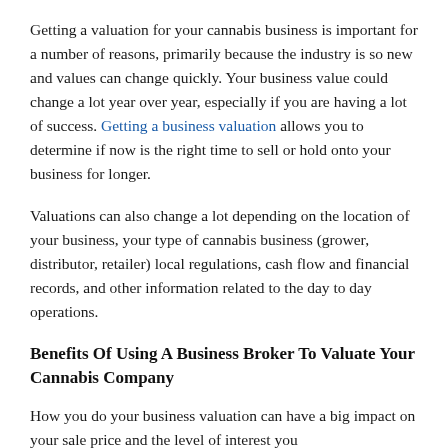Getting a valuation for your cannabis business is important for a number of reasons, primarily because the industry is so new and values can change quickly. Your business value could change a lot year over year, especially if you are having a lot of success. Getting a business valuation allows you to determine if now is the right time to sell or hold onto your business for longer.
Valuations can also change a lot depending on the location of your business, your type of cannabis business (grower, distributor, retailer) local regulations, cash flow and financial records, and other information related to the day to day operations.
Benefits Of Using A Business Broker To Valuate Your Cannabis Company
How you do your business valuation can have a big impact on your sale price and the level of interest you